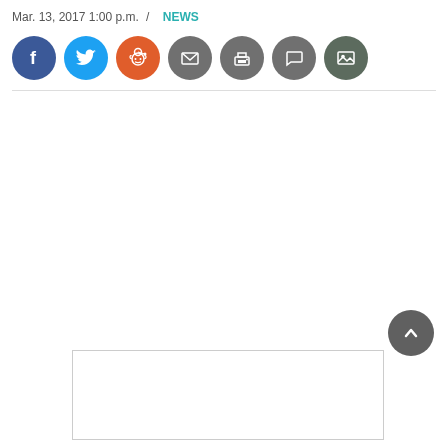Mar. 13, 2017 1:00 p.m. / NEWS
[Figure (infographic): Social sharing icon buttons: Facebook (blue circle), Twitter (light blue circle), Reddit (orange circle), Email (grey circle), Print (grey circle), Comment (grey circle), Gallery (dark grey circle)]
[Figure (infographic): Scroll-to-top button: dark grey circle with upward chevron arrow]
[Figure (other): Advertisement placeholder box (empty rectangle)]